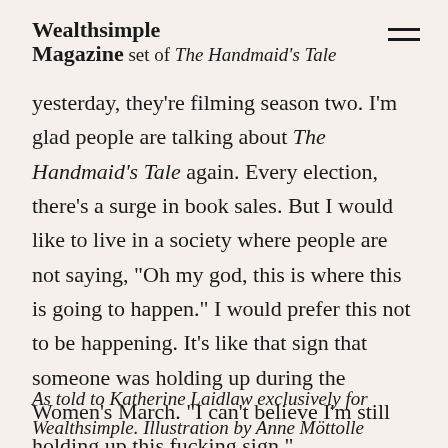Wealthsimple Magazine
set of The Handmaid's Tale yesterday, they're filming season two. I'm glad people are talking about The Handmaid's Tale again. Every election, there's a surge in book sales. But I would like to live in a society where people are not saying, “Oh my god, this is where this is going to happen.” I would prefer this not to be happening. It’s like that sign that someone was holding up during the Women's March. “I can’t believe I’m still holding up this fucking sign.”
As told to Katherine Laidlaw exclusively for Wealthsimple. Illustration by Anne Möttolle